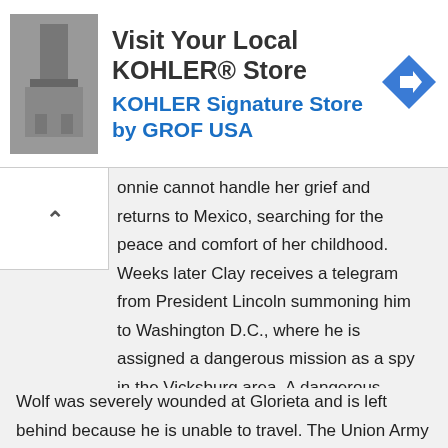[Figure (screenshot): Advertisement banner for KOHLER Signature Store by GROF USA, showing a bathroom fixture photo, store name text, and a navigation/directions icon.]
onnie cannot handle her grief and returns to Mexico, searching for the peace and comfort of her childhood. Weeks later Clay receives a telegram from President Lincoln summoning him to Washington D.C., where he is assigned a dangerous mission as a spy in the Vicksburg area. A dangerous bandit has his sights on claiming both her family's ranchero and Connie too.
Wolf was severely wounded at Glorieta and is left behind because he is unable to travel. The Union Army medics care for him in a limited fashion and he ends up at Leavenworth. He escapes, though grievously ill, and attempts to make his way to Vicksburg – where he hopes to warn the Confederate Army of the Union's approach and find his Southern Belle wife, whom he hasn't seen for many years.